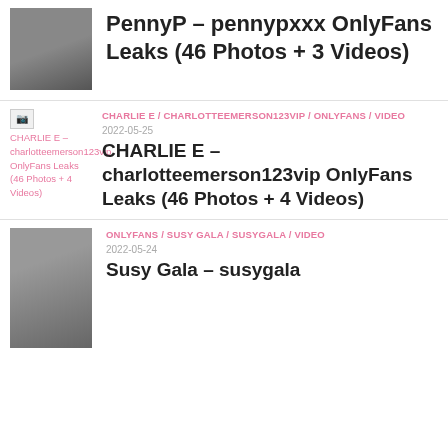PennyP – pennypxxx OnlyFans Leaks (46 Photos + 3 Videos)
CHARLIE E / CHARLOTTEEMERSON123VIP / ONLYFANS / VIDEO | 2022-05-25 | CHARLIE E – charlotteemerson123vip OnlyFans Leaks (46 Photos + 4 Videos)
ONLYFANS / SUSY GALA / SUSYGALA / VIDEO | 2022-05-24 | Susy Gala – susygala